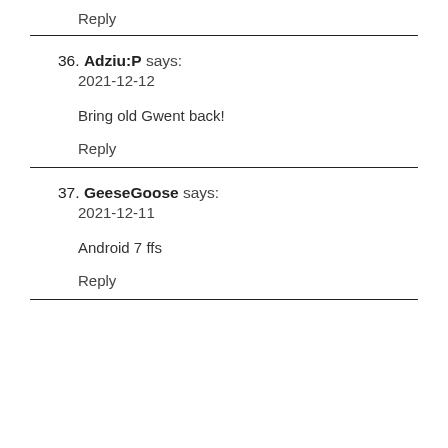Reply
36. Adziu:P says:
2021-12-12

Bring old Gwent back!

Reply
37. GeeseGoose says:
2021-12-11

Android 7 ffs

Reply